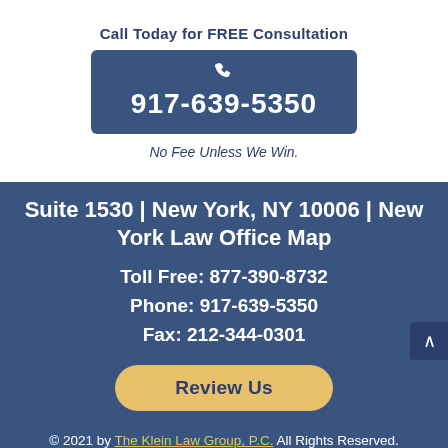Call Today for FREE Consultation
[Figure (infographic): Blue rounded rectangle button with white phone icon and phone number 917-639-5350]
No Fee Unless We Win.
Suite 1530 | New York, NY 10006 | New York Law Office Map
Toll Free: 877-390-8732
Phone: 917-639-5350
Fax: 212-344-0301
[Figure (other): Gold/yellow Review Us button with rounded corners]
© 2021 by The Klein Law Group, P.C. All Rights Reserved. Disclaimer | Site Map | Privacy Policy